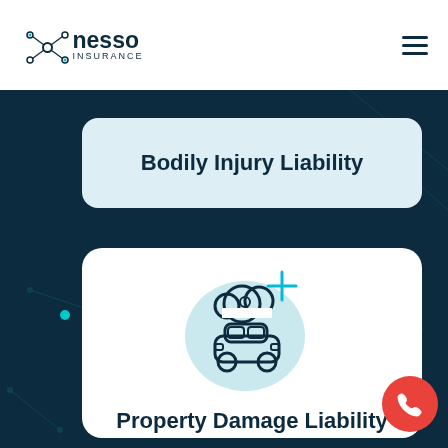Nesso Insurance
Bodily Injury Liability
[Figure (illustration): Car accident illustration with smoke/explosion cloud above a car, with teal sparkle accent, on a light teal blob background]
Property Damage Liability